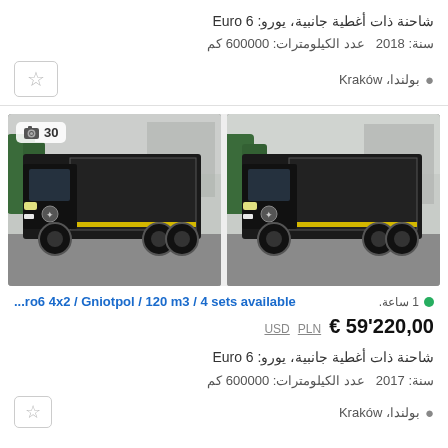شاحنة ذات أغطية جانبية، يورو: Euro 6
سنة: 2018  عدد الكيلومترات: 600000 كم
بولندا، Kraków
[Figure (photo): Two side-by-side photos of a dark Mercedes-Benz curtainsider truck, parked outdoors. The right photo has a camera icon and '30' badge.]
...ro6 4x2 / Gniotpol / 120 m3 / 4 sets available
€ 59'220,00  PLN  USD
شاحنة ذات أغطية جانبية، يورو: Euro 6
سنة: 2017  عدد الكيلومترات: 600000 كم
بولندا، Kraków